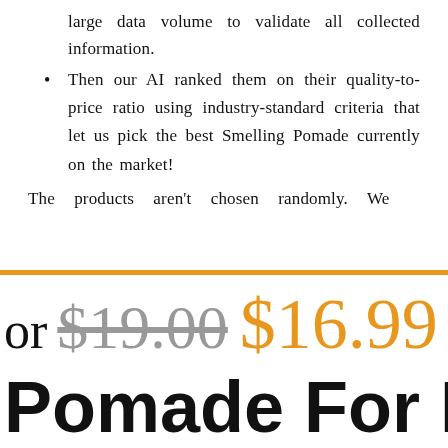large data volume to validate all collected information.
Then our AI ranked them on their quality-to-price ratio using industry-standard criteria that let us pick the best Smelling Pomade currently on the market!
The products aren't chosen randomly. We
or $19.00 $16.99
Pomade For Men